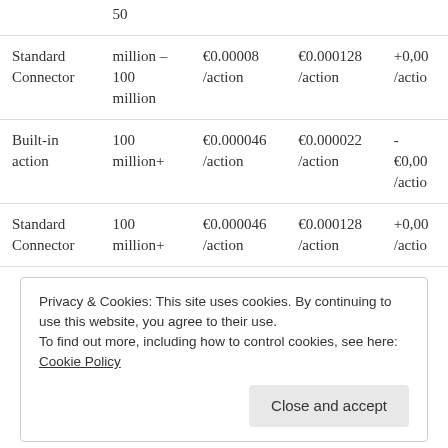|  | Volume | Price (Built-in) | Price (Standard) | Overage |
| --- | --- | --- | --- | --- |
|  | 50 |  |  |  |
| Standard Connector | million – 100 million | €0.00008/action | €0.000128/action | +0,00.../action |
| Built-in action | 100 million+ | €0.000046/action | €0.000022/action | -
€0,00.../action |
| Standard Connector | 100 million+ | €0.000046/action | €0.000128/action | +0,00.../action |
Privacy & Cookies: This site uses cookies. By continuing to use this website, you agree to their use.
To find out more, including how to control cookies, see here: Cookie Policy